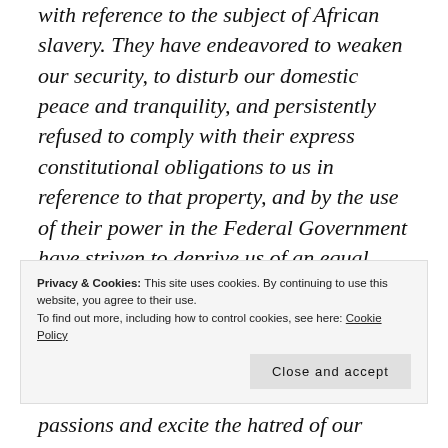with reference to the subject of African slavery. They have endeavored to weaken our security, to disturb our domestic peace and tranquility, and persistently refused to comply with their express constitutional obligations to us in reference to that property, and by the use of their power in the Federal Government have striven to deprive us of an equal enjoyment of the common Territories of the Republic. This hostile
passions and excite the hatred of our